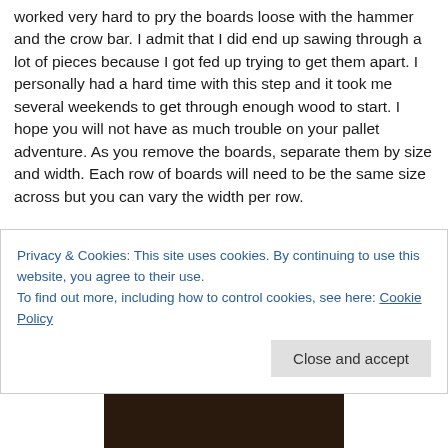worked very hard to pry the boards loose with the hammer and the crow bar. I admit that I did end up sawing through a lot of pieces because I got fed up trying to get them apart. I personally had a hard time with this step and it took me several weekends to get through enough wood to start. I hope you will not have as much trouble on your pallet adventure. As you remove the boards, separate them by size and width. Each row of boards will need to be the same size across but you can vary the width per row.

Pallets are a variety of colors. If they are left outside, they will have a weathered gray look. If they are used inside, they will be lighter in color. Some have paint on them and some even have cool markings from vendors. Choosing a
Privacy & Cookies: This site uses cookies. By continuing to use this website, you agree to their use.
To find out more, including how to control cookies, see here: Cookie Policy
Close and accept
[Figure (photo): Partial view of a dark-toned photo at the bottom of the page, likely showing wood or pallet materials.]